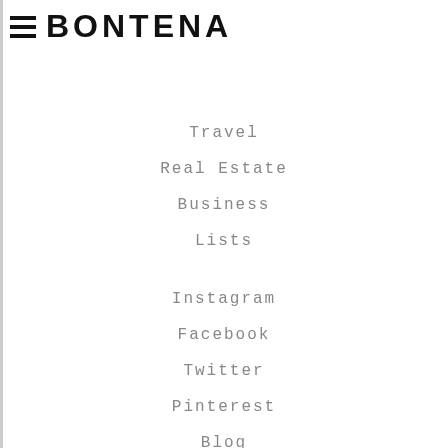BONTENA
Travel
Real Estate
Business
Lists
Instagram
Facebook
Twitter
Pinterest
Blog
About Bontena
Privacy Policy